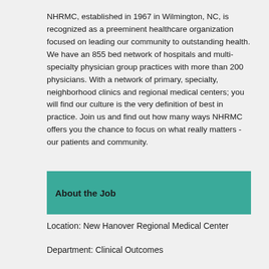NHRMC, established in 1967 in Wilmington, NC, is recognized as a preeminent healthcare organization focused on leading our community to outstanding health. We have an 855 bed network of hospitals and multi-specialty physician group practices with more than 200 physicians. With a network of primary, specialty, neighborhood clinics and regional medical centers; you will find our culture is the very definition of best in practice. Join us and find out how many ways NHRMC offers you the chance to focus on what really matters - our patients and community.
About the Job
Location: New Hanover Regional Medical Center
Department: Clinical Outcomes